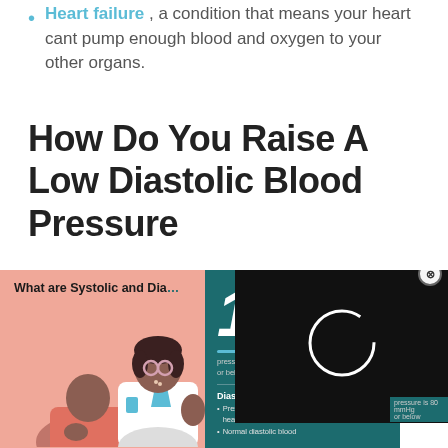Heart failure, a condition that means your heart cant pump enough blood and oxygen to your other organs.
How Do You Raise A Low Diastolic Blood Pressure
[Figure (infographic): Infographic titled 'What are Systolic and Diastolic Blood Pressure' showing a doctor and patient illustration on a pink background. A teal card shows blood pressure numbers 120/80 with descriptions of systolic and diastolic blood pressure. A black video-loading overlay panel is visible on the right side.]